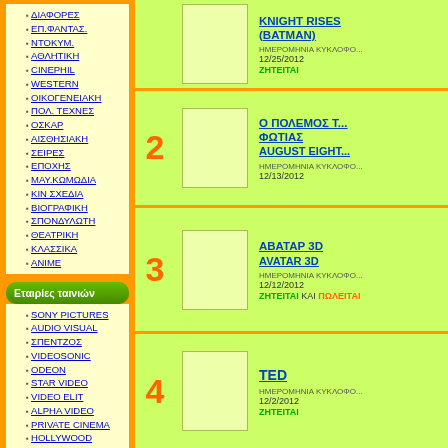ΔΙΑΦΟΡΕΣ
ΕΠ.ΦΑΝΤΑΣ.
ΝΤΟΚΥΜ.
ΑΘΛΗΤΙΚΗ
CINEPHIL
WESTERN
ΟΙΚΟΓΕΝΕΙΑΚΗ
ΠΟΛ. ΤΕΧΝΕΣ
ΟΣΚΑΡ
ΑΙΣΘΗΣΙΑΚΗ
ΣΕΙΡΕΣ
ΕΠΟΧΗΣ
ΜΑΥ.ΚΩΜΩΔΙΑ
ΚΙΝ ΣΧΕΔΙΑ
ΒΙΟΓΡΑΦΙΚΗ
ΣΠΟΝΔΥΛΩΤΗ
ΘΕΑΤΡΙΚΗ
ΚΛΑΣΣΙΚΑ
ANIME
Εταιρίες ταινιών
SONY PICTURES
AUDIO VISUAL
ΣΠΕΝΤΖΟΣ
VIDEOSONIC
ODEON
STAR VIDEO
VIDEO ELIT
ALPHA VIDEO
PRIVATE CINEMA
HOLLYWOOD
| Rank | Cover | Title/Info |
| --- | --- | --- |
| 2 |  | KNIGHT RISES (BATMAN) / ΗΜΕΡΟΜΗΝΙΑ ΚΥΚΛΟΦΟ... 12/25/2012 / ZHTEITAI |
| 2 |  | Ο ΠΟΛΕΜΟΣ Τ... ΦΩΤΙΑΣ / AUGUST EIGHT... / ΗΜΕΡΟΜΗΝΙΑ ΚΥΚΛΟΦΟ... 12/13/2012 |
| 3 |  | ΑΒΑΤΑΡ 3D / AVATAR 3D / ΗΜΕΡΟΜΗΝΙΑ ΚΥΚΛΟΦΟ... 12/12/2012 / ZHTEITAI ΚΑΙ ΠΩΛΕΙΤΑΙ |
| 4 |  | TED / ΗΜΕΡΟΜΗΝΙΑ ΚΥΚΛΟΦΟ... 12/2/2012 / ZHTEITAI |